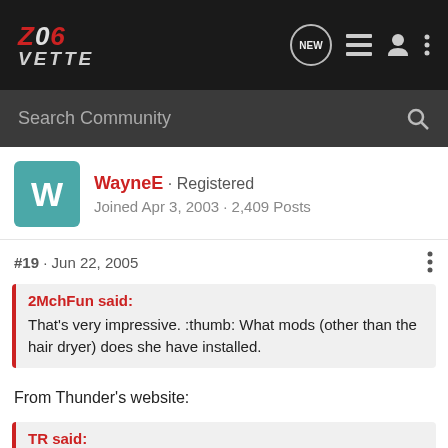Z06 Vette - Navigation bar with logo, NEW bubble, list icon, user icon, menu icon
Search Community
WayneE · Registered
Joined Apr 3, 2003 · 2,409 Posts
#19 · Jun 22, 2005
2MchFun said:
That's very impressive. :thumb: What mods (other than the hair dryer) does she have installed.
From Thunder's website:
TR said:
This 2001 Z28 is the "Plain Jane" daily driver of Thunder Racing's own Angie Skinner. Nicknamed for it's stock appearance and lack of